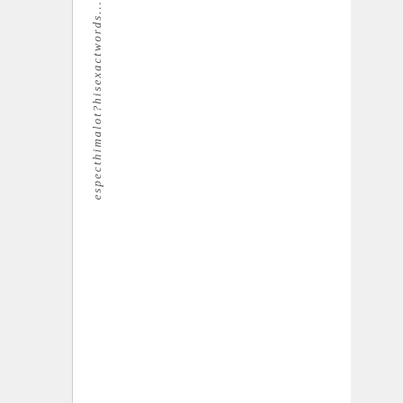espec this him a lot? his exact words...